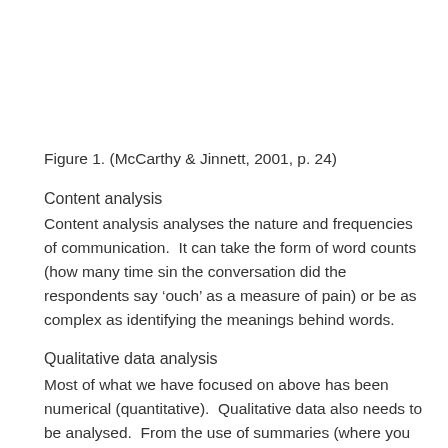Figure 1. (McCarthy & Jinnett, 2001, p. 24)
Content analysis
Content analysis analyses the nature and frequencies of communication.  It can take the form of word counts (how many time sin the conversation did the respondents say ‘ouch’ as a measure of pain) or be as complex as identifying the meanings behind words.
Qualitative data analysis
Most of what we have focused on above has been numerical (quantitative).  Qualitative data also needs to be analysed.  From the use of summaries (where you might join responses together into broad or specific categories)